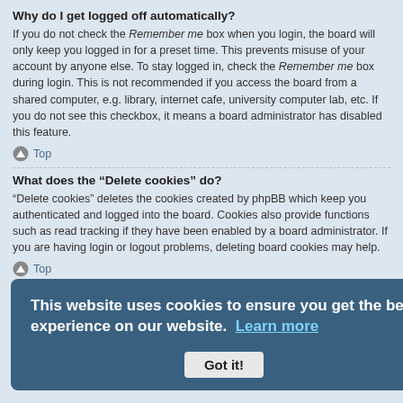Why do I get logged off automatically?
If you do not check the Remember me box when you login, the board will only keep you logged in for a preset time. This prevents misuse of your account by anyone else. To stay logged in, check the Remember me box during login. This is not recommended if you access the board from a shared computer, e.g. library, internet cafe, university computer lab, etc. If you do not see this checkbox, it means a board administrator has disabled this feature.
Top
What does the “Delete cookies” do?
“Delete cookies” deletes the cookies created by phpBB which keep you authenticated and logged into the board. Cookies also provide functions such as read tracking if they have been enabled by a board administrator. If you are having login or logout problems, deleting board cookies may help.
Top
User Preferences and settings
How do I change my settings?
If you are a registered user, all your settings are stored in the board database. To alter them, visit your User Control Panel; a link can usually be found by clicking on your username at the top of board pages. This system will allow you to change all your settings and preferences.
This website uses cookies to ensure you get the best experience on our website.  Learn more
Got it!